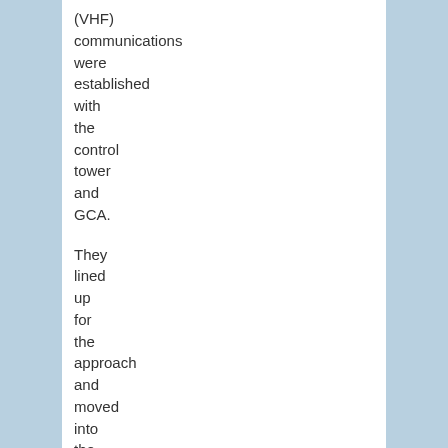(VHF) communications were established with the control tower and GCA.
They lined up for the approach and moved into the glide path.